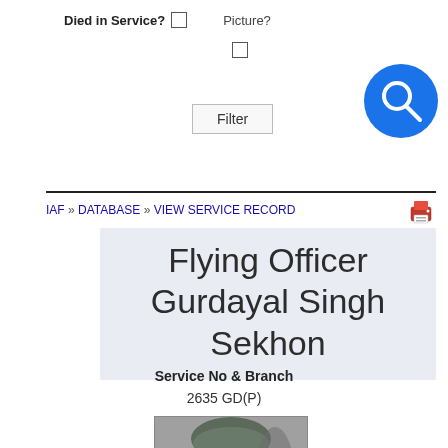Died in Service? ☐   Picture?
☐
Filter
[Figure (other): Blue circular search/magnify icon button]
IAF » DATABASE » VIEW SERVICE RECORD
[Figure (other): Printer/print icon]
Flying Officer Gurdayal Singh Sekhon
Service No & Branch
2635 GD(P)
[Figure (photo): Black and white photograph of Flying Officer Gurdayal Singh Sekhon, a man wearing a turban, facing the camera]